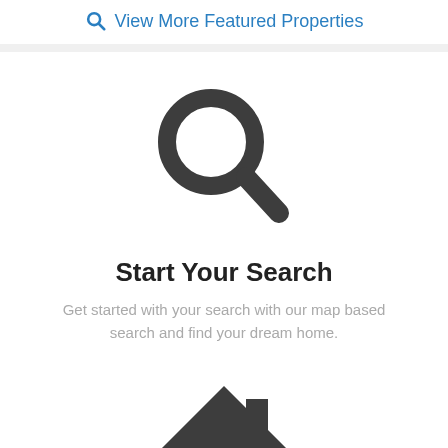View More Featured Properties
[Figure (illustration): Large dark grey magnifying glass icon]
Start Your Search
Get started with your search with our map based search and find your dream home.
[Figure (illustration): Large dark grey house/home icon]